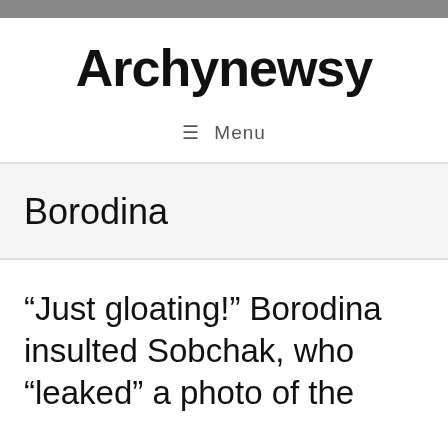Archynewsy
≡ Menu
Borodina
“Just gloating!” Borodina insulted Sobchak, who “leaked” a photo of the